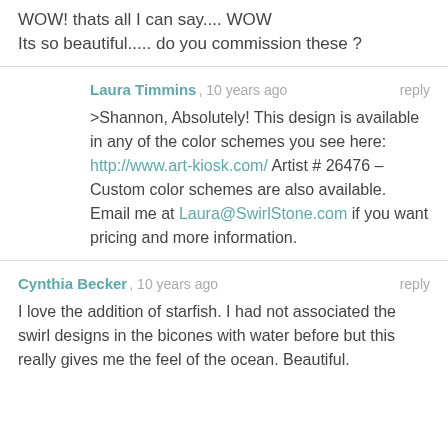WOW! thats all I can say.... WOW
Its so beautiful..... do you commission these ?
Laura Timmins , 10 years ago reply
>Shannon, Absolutely! This design is available in any of the color schemes you see here: http://www.art-kiosk.com/ Artist # 26476 – Custom color schemes are also available. Email me at Laura@SwirlStone.com if you want pricing and more information.
Cynthia Becker , 10 years ago reply
I love the addition of starfish. I had not associated the swirl designs in the bicones with water before but this really gives me the feel of the ocean. Beautiful.